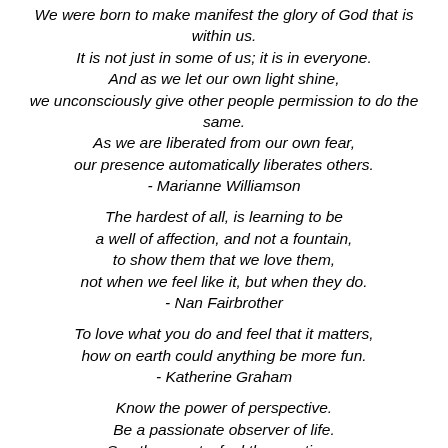We were born to make manifest the glory of God that is within us. It is not just in some of us; it is in everyone. And as we let our own light shine, we unconsciously give other people permission to do the same. As we are liberated from our own fear, our presence automatically liberates others. - Marianne Williamson
The hardest of all, is learning to be a well of affection, and not a fountain, to show them that we love them, not when we feel like it, but when they do. - Nan Fairbrother
To love what you do and feel that it matters, how on earth could anything be more fun. - Katherine Graham
Know the power of perspective. Be a passionate observer of life. See the events, feel the emotions, and recognize the difference. - Jonathan Lockwood Huie